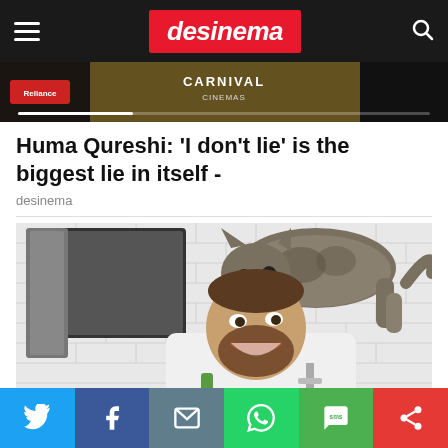desinema
[Figure (photo): Desinema website screenshot - top navigation bar with hamburger menu, desinema logo in red, and search icon]
[Figure (photo): Hero image strip showing Carnival Cinemas banner with progress bar]
Huma Qureshi: 'I don't lie' is the biggest lie in itself -
desinema
[Figure (photo): Photo of a bearded man in a white t-shirt smiling with a cat sitting on top of his head in a bathroom with white tiled walls and a mirror]
Social share bar with Twitter, Facebook, Email, WhatsApp, SMS, and share buttons